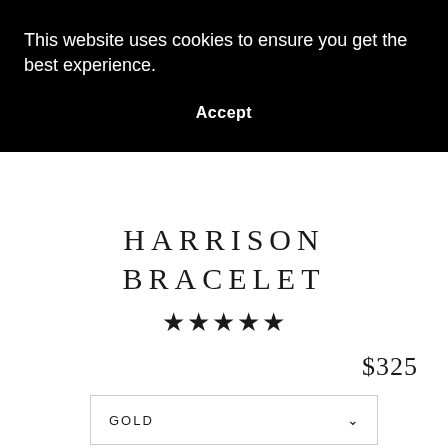This website uses cookies to ensure you get the best experience.
Accept
HARRISON BRACELET
★★★★★
$325
GOLD